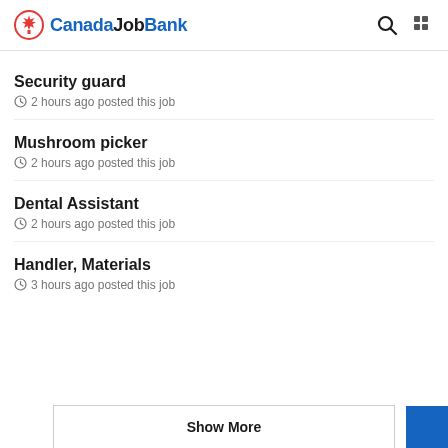CanadaJobBank
Security guard
2 hours ago posted this job
Mushroom picker
2 hours ago posted this job
Dental Assistant
2 hours ago posted this job
Handler, Materials
3 hours ago posted this job
Show More